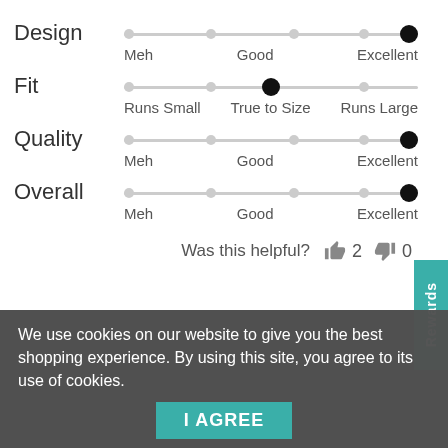[Figure (infographic): Rating sliders for Design (Excellent), Fit (True to Size), Quality (Excellent), Overall (Excellent) with small dots along track and filled black active dot]
Was this helpful? 👍 2 👎 0
Rewards
We use cookies on our website to give you the best shopping experience. By using this site, you agree to its use of cookies.
I AGREE
Dan
Reviewing
6 Pack Boxer Packing Underwear - Multi - 3-Pack